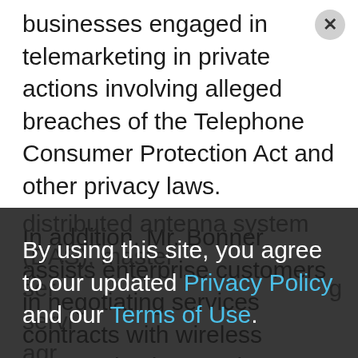businesses engaged in telemarketing in private actions involving alleged breaches of the Telephone Consumer Protection Act and other privacy laws.
In addition, Mr. Bonner assists enterprise customers in negotiating services contracts with wireless communications and Internet service providers.  This includes negotiating distributed antenna system (DAS), master service agreements, and negotiating services agreements successfully assisting clients in negotiating agreements for cause without termination liability, and
By using this site, you agree to our updated Privacy Policy and our Terms of Use.